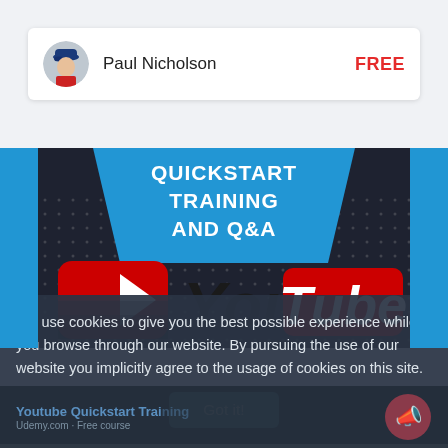[Figure (screenshot): Profile card showing Paul Nicholson avatar, name, and FREE label]
Paul Nicholson
FREE
[Figure (illustration): YouTube QuickStart Training and Q&A course banner with blue trapezoid header and YouTube logo]
QUICKSTART TRAINING AND Q&A
We use cookies to give you the best possible experience while you browse through our website. By pursuing the use of our website you implicitly agree to the usage of cookies on this site.
Got it!
Youtube Quickstart Training